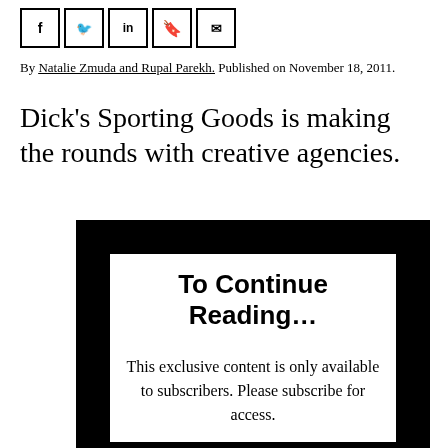[Figure (other): Social media sharing icons: Facebook, Twitter, LinkedIn, bookmark, email — each in a square border]
By Natalie Zmuda and Rupal Parekh. Published on November 18, 2011.
Dick's Sporting Goods is making the rounds with creative agencies.
To Continue Reading...

This exclusive content is only available to subscribers. Please subscribe for access.